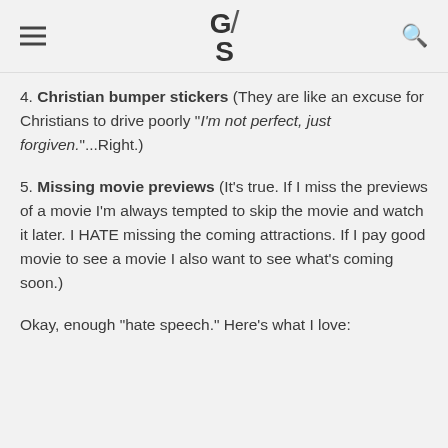G/S
4. Christian bumper stickers (They are like an excuse for Christians to drive poorly “I’m not perfect, just forgiven.”...Right.)
5. Missing movie previews (It’s true. If I miss the previews of a movie I’m always tempted to skip the movie and watch it later. I HATE missing the coming attractions. If I pay good movie to see a movie I also want to see what’s coming soon.)
Okay, enough “hate speech.” Here’s what I love: